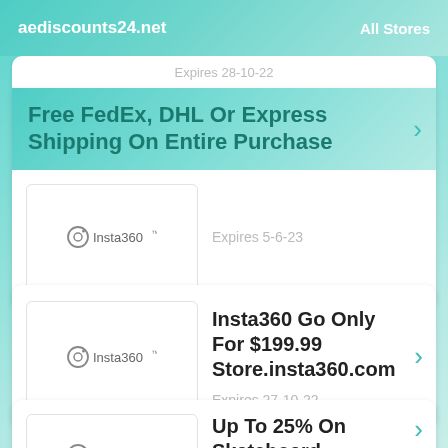aediscounts24.net   All Stores
Expires 28-10-22
Free FedEx, DHL Or Express Shipping On Entire Purchase
Expires 5-6-23
Insta360 Go Only For $199.99 Store.insta360.com
Expires 27-10-22
Up To 25% On Skateboard Bundles At Insta360